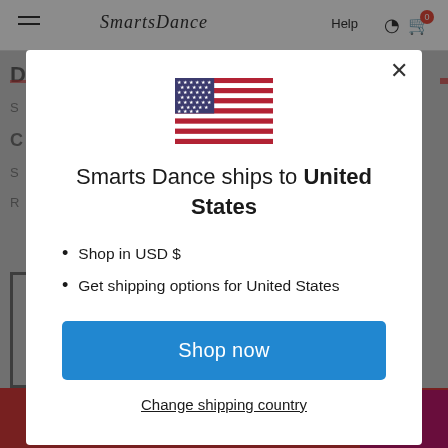[Figure (screenshot): Background of a website (Smarts Dance) with navigation bar, partially visible page content, and red footer with chat button, all dimmed behind a modal overlay.]
[Figure (illustration): US flag SVG illustration inside modal dialog.]
Smarts Dance ships to United States
Shop in USD $
Get shipping options for United States
Shop now
Change shipping country